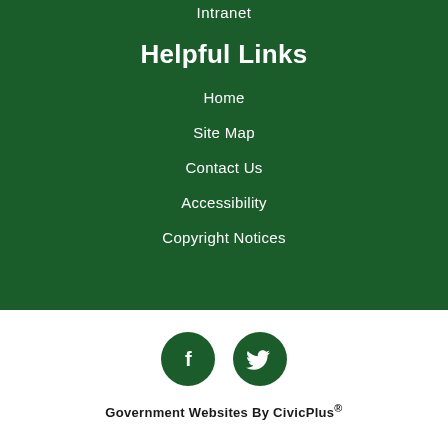Intranet
Helpful Links
Home
Site Map
Contact Us
Accessibility
Copyright Notices
[Figure (illustration): Two circular social media icon buttons: Facebook (f) and Twitter (bird icon), dark green on white background]
Government Websites By CivicPlus®